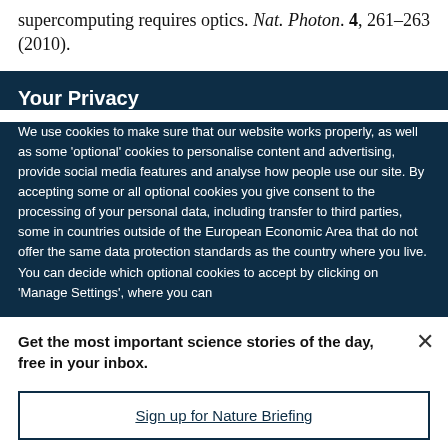supercomputing requires optics. Nat. Photon. 4, 261–263 (2010).
Your Privacy
We use cookies to make sure that our website works properly, as well as some 'optional' cookies to personalise content and advertising, provide social media features and analyse how people use our site. By accepting some or all optional cookies you give consent to the processing of your personal data, including transfer to third parties, some in countries outside of the European Economic Area that do not offer the same data protection standards as the country where you live. You can decide which optional cookies to accept by clicking on 'Manage Settings', where you can
Get the most important science stories of the day, free in your inbox.
Sign up for Nature Briefing